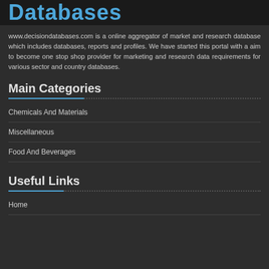Databases
www.decisiondatabases.com is a online aggregator of market and research database which includes databases, reports and profiles. We have started this portal with a aim to become one stop shop provider for marketing and research data requirements for various sector and country databases.
Main Categories
Chemicals And Materials
Miscellaneous
Food And Beverages
Useful Links
Home